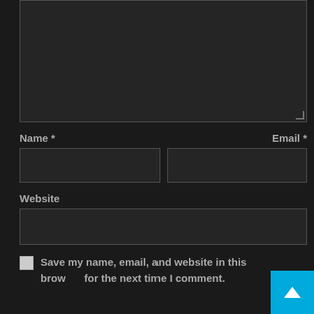[Figure (screenshot): Dark-themed web form with a large comment textarea, Name and Email fields side by side, a Website field, a checkbox with save-info label, and a back-to-top button]
Name *
Email *
Website
Save my name, email, and website in this browser for the next time I comment.